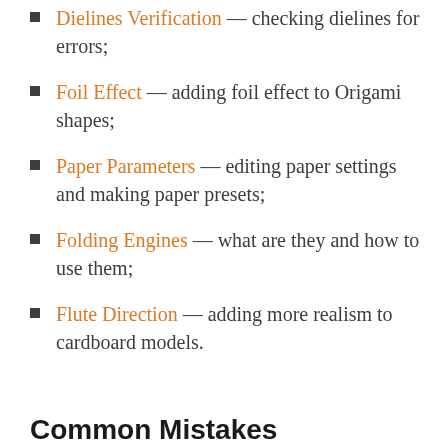Dielines Verification — checking dielines for errors;
Foil Effect — adding foil effect to Origami shapes;
Paper Parameters — editing paper settings and making paper presets;
Folding Engines — what are they and how to use them;
Flute Direction — adding more realism to cardboard models.
Common Mistakes